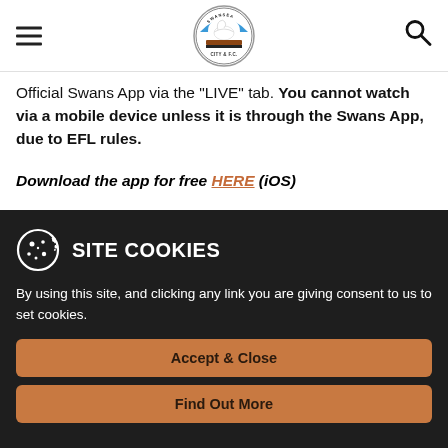Swansea City AFC - navigation header with hamburger menu, club logo, and search icon
Official Swans App via the "LIVE" tab. You cannot watch via a mobile device unless it is through the Swans App, due to EFL rules.
Download the app for free HERE (iOS)
SITE COOKIES
By using this site, and clicking any link you are giving consent to us to set cookies.
Accept & Close
Find Out More